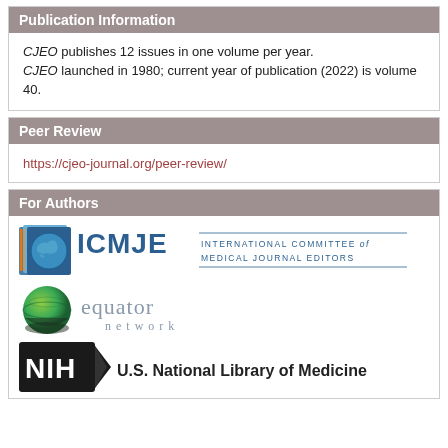Publication Information
CJEO publishes 12 issues in one volume per year. CJEO launched in 1980; current year of publication (2022) is volume 40.
Peer Review
https://cjeo-journal.org/peer-review/
For Authors
[Figure (logo): ICMJE - International Committee of Medical Journal Editors logo]
[Figure (logo): Equator Network logo]
[Figure (logo): NIH U.S. National Library of Medicine logo]